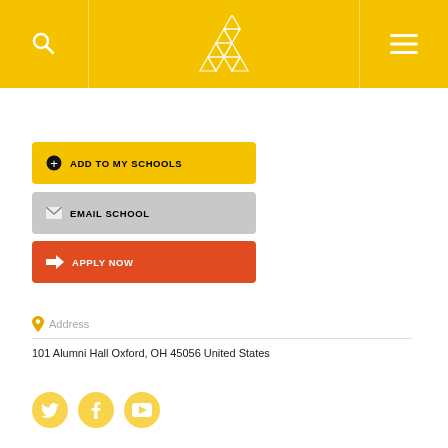[Figure (screenshot): Yellow header navigation bar with search icon, triangular logo (letter A made of triangles), and hamburger menu icon]
ADD TO MY SCHOOLS
EMAIL SCHOOL
APPLY NOW
Address
101 Alumni Hall Oxford, OH 45056 United States